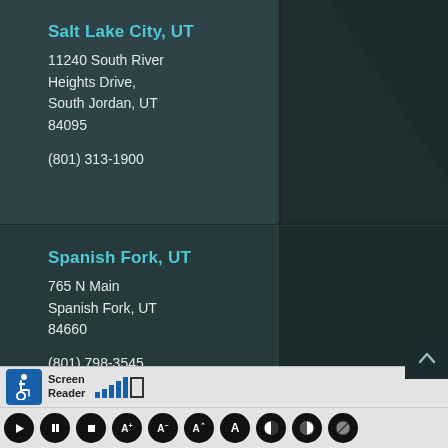Salt Lake City, UT
11240 South River Heights Drive, South Jordan, UT 84095

(801) 313-1900
Spanish Fork, UT
765 N Main
Spanish Fork, UT 84660

(801) 798-3545
Screen Reader (801) controls bar